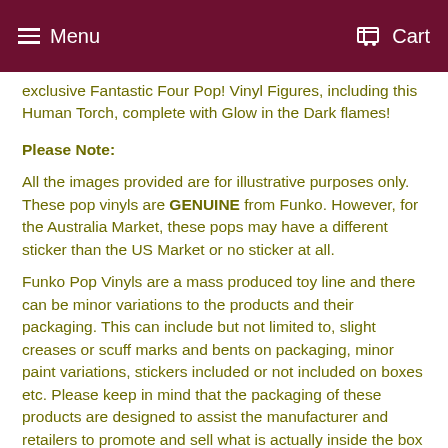Menu   Cart
exclusive Fantastic Four Pop! Vinyl Figures, including this Human Torch, complete with Glow in the Dark flames!
Please Note:
All the images provided are for illustrative purposes only. These pop vinyls are GENUINE from Funko. However, for the Australia Market, these pops may have a different sticker than the US Market or no sticker at all.
Funko Pop Vinyls are a mass produced toy line and there can be minor variations to the products and their packaging. This can include but not limited to, slight creases or scuff marks and bents on packaging, minor paint variations, stickers included or not included on boxes etc. Please keep in mind that the packaging of these products are designed to assist the manufacturer and retailers to promote and sell what is actually inside the box - the collectable toy.
Unfortunately we will not be replacing or refunding products that